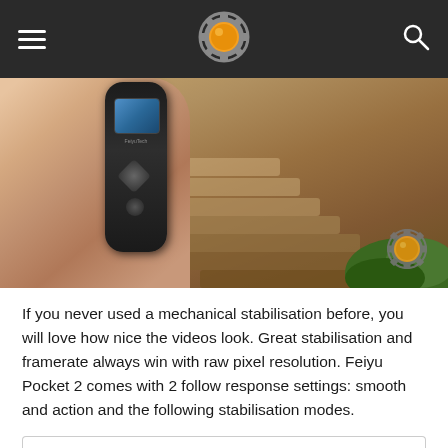Navigation header with hamburger menu, gear logo, and search icon
[Figure (photo): A hand holding a small black FeyuTech Pocket 2 action camera device with a small screen, against a background of stone steps and greenery.]
If you never used a mechanical stabilisation before, you will love how nice the videos look. Great stabilisation and framerate always win with raw pixel resolution. Feiyu Pocket 2 comes with 2 follow response settings: smooth and action and the following stabilisation modes.
| Mode | Description |
| --- | --- |